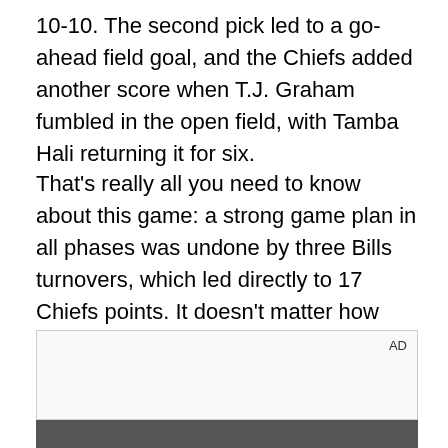10-10. The second pick led to a go-ahead field goal, and the Chiefs added another score when T.J. Graham fumbled in the open field, with Tamba Hali returning it for six.
That's really all you need to know about this game: a strong game plan in all phases was undone by three Bills turnovers, which led directly to 17 Chiefs points. It doesn't matter how well you play as a team, expectations aside, when you can't do something basic like perform well in the turnover department - especially against the Chiefs, who led the league in turnover differential coming into the game.
[Figure (other): Advertisement placeholder box with 'AD' label in top right corner, followed by a photo strip at the bottom of the page.]